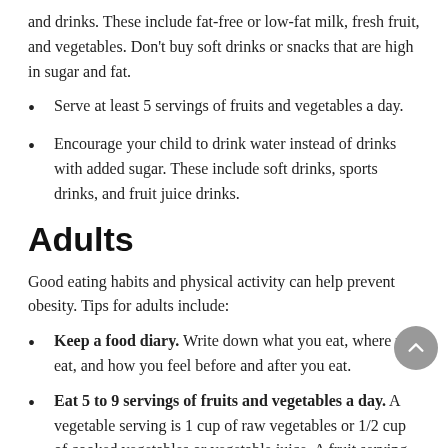and drinks. These include fat-free or low-fat milk, fresh fruit, and vegetables. Don't buy soft drinks or snacks that are high in sugar and fat.
Serve at least 5 servings of fruits and vegetables a day.
Encourage your child to drink water instead of drinks with added sugar. These include soft drinks, sports drinks, and fruit juice drinks.
Adults
Good eating habits and physical activity can help prevent obesity. Tips for adults include:
Keep a food diary. Write down what you eat, where you eat, and how you feel before and after you eat.
Eat 5 to 9 servings of fruits and vegetables a day. A vegetable serving is 1 cup of raw vegetables or 1/2 cup of cooked vegetables or vegetable juice. A fruit serving is 1